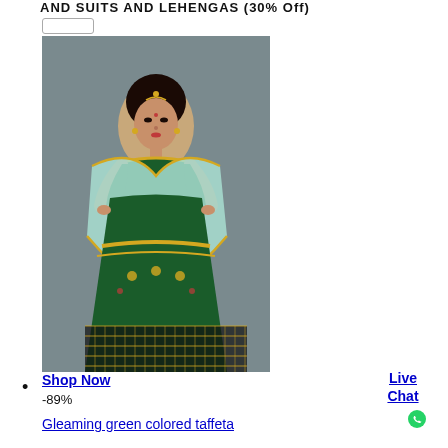AND SUITS AND LEHENGAS (30% Off)
[Figure (photo): Woman wearing a gleaming green colored taffeta lehenga choli with mint/light blue dupatta, heavily embroidered with gold and multicolor embroidery, posed against a grey studio background.]
•
Shop Now
-89%
Gleaming green colored taffeta
Live Chat
[Figure (logo): WhatsApp green circle icon]